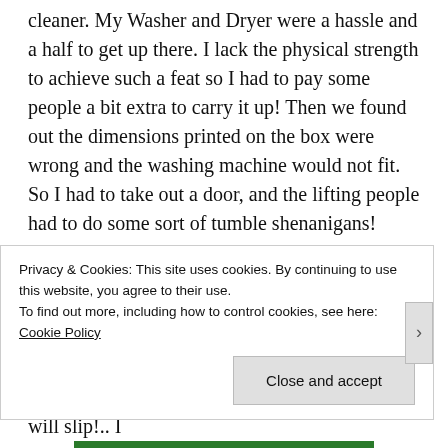cleaner. My Washer and Dryer were a hassle and a half to get up there. I lack the physical strength to achieve such a feat so I had to pay some people a bit extra to carry it up! Then we found out the dimensions printed on the box were wrong and the washing machine would not fit. So I had to take out a door, and the lifting people had to do some sort of tumble shenanigans! However I am super happy with my bathroom! It is one story up from my other rooms.. aside from the bedroom. Which means I can take late night showers without worrying that I wake people up! I will fall down the stairs one day because I showered to hot and got dizzy.. or I will slip!.. I
Privacy & Cookies: This site uses cookies. By continuing to use this website, you agree to their use.
To find out more, including how to control cookies, see here: Cookie Policy
Close and accept